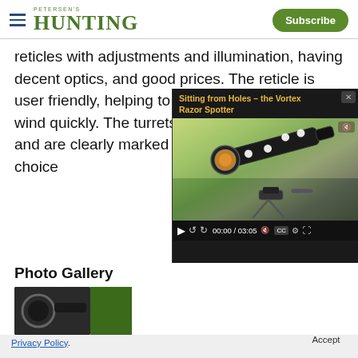PETERSEN'S HUNTING | Subscribe
reticles with adjustments and illumination, having decent optics, and good prices. The reticle is user friendly, helping to compensate for drop and wind quickly. The turrets hold tight in position and are clearly marked and looking for is a solid choice
[Figure (screenshot): Embedded video player showing a spotting scope on a tripod outdoors. Video title text partially visible. Controls show 00:00 / 03:05 timestamp.]
Photo Gallery
[Figure (photo): Partial thumbnail of a rifle scope or optic device, dark background. Green overlay on right side.]
We use cookies to provide you with the best experience in Outdoors programming. Click accept to continue or read about our Privacy Policy.